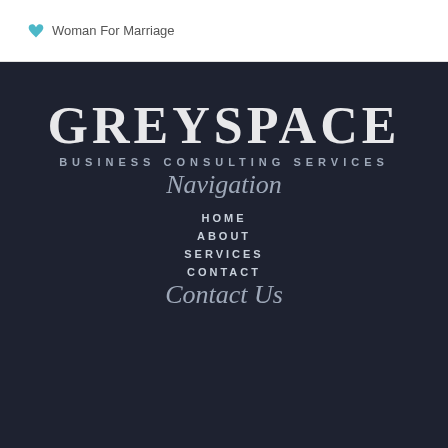Woman For Marriage
GREYSPACE
BUSINESS CONSULTING SERVICES
Navigation
HOME
ABOUT
SERVICES
CONTACT
Contact Us